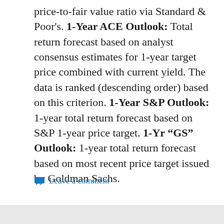price-to-fair value ratio via Standard & Poor's. 1-Year ACE Outlook: Total return forecast based on analyst consensus estimates for 1-year target price combined with current yield. The data is ranked (descending order) based on this criterion. 1-Year S&P Outlook: 1-year total return forecast based on S&P 1-year price target. 1-Yr “GS” Outlook: 1-year total return forecast based on most recent price target issued by Goldman Sachs.
Leave a comment